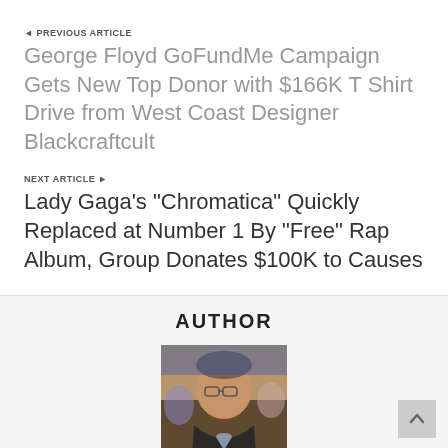◄ PREVIOUS ARTICLE
George Floyd GoFundMe Campaign Gets New Top Donor with $166K T Shirt Drive from West Coast Designer Blackcraftcult
NEXT ARTICLE ►
Lady Gaga's "Chromatica" Quickly Replaced at Number 1 By "Free" Rap Album, Group Donates $100K to Causes
AUTHOR
[Figure (photo): Author photo: middle-aged man with glasses wearing a dark jacket, at an event]